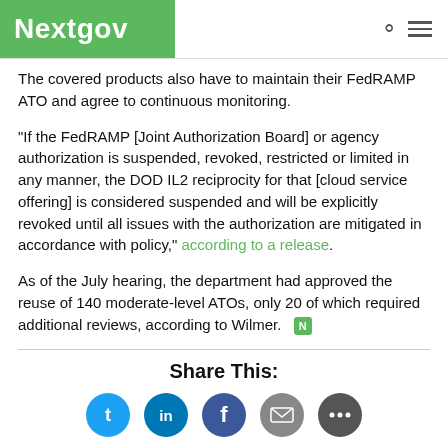Nextgov
The covered products also have to maintain their FedRAMP ATO and agree to continuous monitoring.
“If the FedRAMP [Joint Authorization Board] or agency authorization is suspended, revoked, restricted or limited in any manner, the DOD IL2 reciprocity for that [cloud service offering] is considered suspended and will be explicitly revoked until all issues with the authorization are mitigated in accordance with policy,” according to a release.
As of the July hearing, the department had approved the reuse of 140 moderate-level ATOs, only 20 of which required additional reviews, according to Wilmer.
Share This: